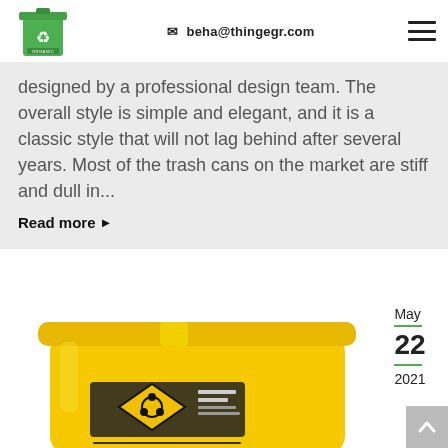beha@thingegr.com
designed by a professional design team. The overall style is simple and elegant, and it is a classic style that will not lag behind after several years. Most of the trash cans on the market are stiff and dull in...
Read more ▶
[Figure (photo): Yellow biohazard waste bin/medical waste container with biohazard warning label]
May 22 2021